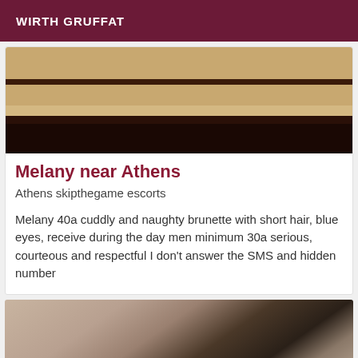WIRTH GRUFFAT
[Figure (photo): Cropped photo showing legs/feet of a person wearing dark shoes, standing on a tiled floor with dark wooden furniture in background]
Melany near Athens
Athens skipthegame escorts
Melany 40a cuddly and naughty brunette with short hair, blue eyes, receive during the day men minimum 30a serious, courteous and respectful I don't answer the SMS and hidden number
[Figure (photo): Close-up cropped photo showing the top of a person's head with brown/dark hair, forehead and ear visible]